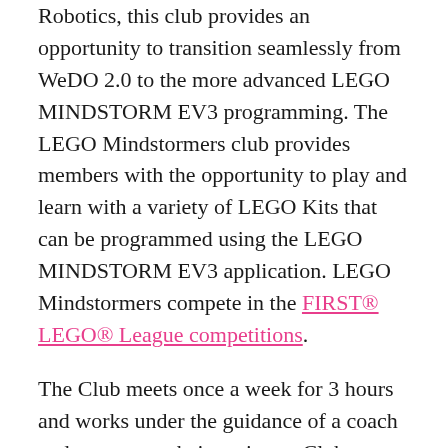Robotics, this club provides an opportunity to transition seamlessly from WeDO 2.0 to the more advanced LEGO MINDSTORM EV3 programming. The LEGO Mindstormers club provides members with the opportunity to play and learn with a variety of LEGO Kits that can be programmed using the LEGO MINDSTORM EV3 application. LEGO Mindstormers compete in the FIRST® LEGO® League competitions.
The Club meets once a week for 3 hours and works under the guidance of a coach and mentor on their projects.  Club members can also book up to 8 additional hours of onsite LEGO play time every month during open hours (4-7 PM on weekdays and 9 AM to 2 PM on Saturdays).  Just call 1 day in advance to book